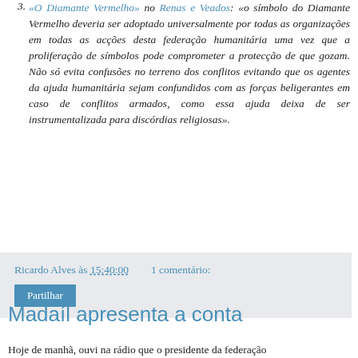intimidade excessiva.»
«O Diamante Vermelho» no Renas e Veados: «o símbolo do Diamante Vermelho deveria ser adoptado universalmente por todas as organizações em todas as acções desta federação humanitária uma vez que a proliferação de símbolos pode comprometer a protecção de que gozam. Não só evita confusões no terreno dos conflitos evitando que os agentes da ajuda humanitária sejam confundidos com as forças beligerantes em caso de conflitos armados, como essa ajuda deixa de ser instrumentalizada para discórdias religiosas».
Ricardo Alves às 15:40:00   1 comentário:
Partilhar
Madaíl apresenta a conta
Hoje de manhã, ouvi na rádio que o presidente da federação